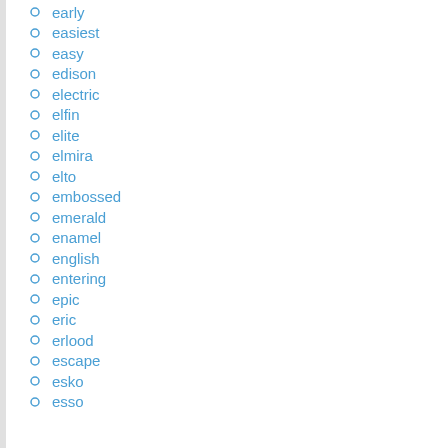early
easiest
easy
edison
electric
elfin
elite
elmira
elto
embossed
emerald
enamel
english
entering
epic
eric
erlood
escape
esko
esso